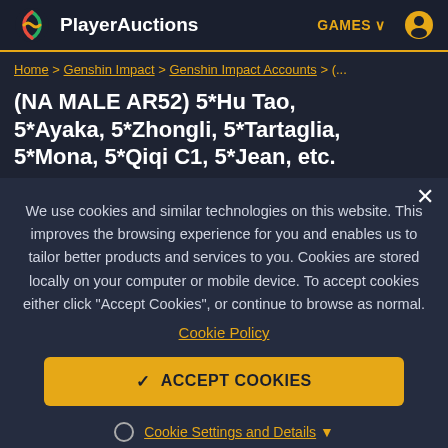PlayerAuctions | GAMES
Home > Genshin Impact > Genshin Impact Accounts > (...
(NA MALE AR52) 5*Hu Tao, 5*Ayaka, 5*Zhongli, 5*Tartaglia, 5*Mona, 5*Qiqi C1, 5*Jean, etc.
We use cookies and similar technologies on this website. This improves the browsing experience for you and enables us to tailor better products and services to you. Cookies are stored locally on your computer or mobile device. To accept cookies either click "Accept Cookies", or continue to browse as normal.
Cookie Policy
✓ ACCEPT COOKIES
Cookie Settings and Details ▼